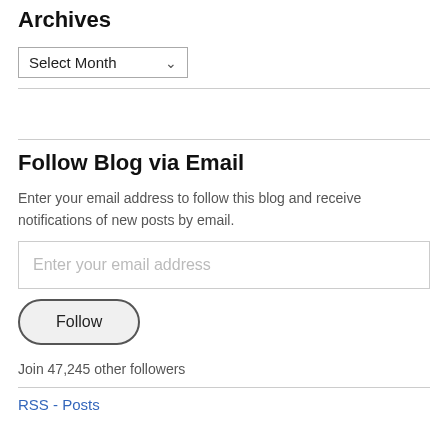Archives
Select Month
Follow Blog via Email
Enter your email address to follow this blog and receive notifications of new posts by email.
Enter your email address
Follow
Join 47,245 other followers
RSS - Posts